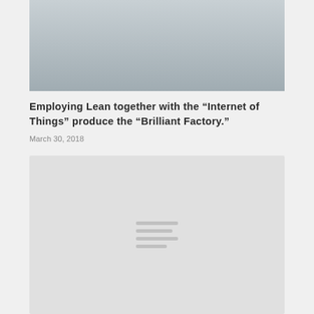[Figure (photo): Aerial/wide view of an industrial factory complex with tall cylindrical silos, pipes, industrial buildings, and surrounding infrastructure at dusk/twilight lighting.]
Employing Lean together with the “Internet of Things” produce the “Brilliant Factory.”
March 30, 2018
[Figure (other): Gray loading placeholder box with four horizontal gray lines indicating loading content.]